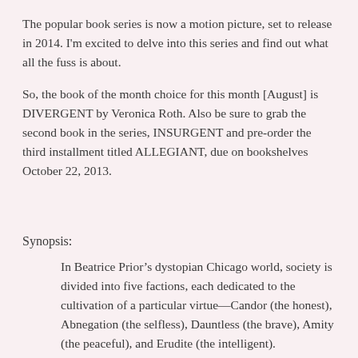The popular book series is now a motion picture, set to release in 2014. I'm excited to delve into this series and find out what all the fuss is about.
So, the book of the month choice for this month [August] is DIVERGENT by Veronica Roth. Also be sure to grab the second book in the series, INSURGENT and pre-order the third installment titled ALLEGIANT, due on bookshelves October 22, 2013.
Synopsis:
In Beatrice Prior’s dystopian Chicago world, society is divided into five factions, each dedicated to the cultivation of a particular virtue—Candor (the honest), Abnegation (the selfless), Dauntless (the brave), Amity (the peaceful), and Erudite (the intelligent).